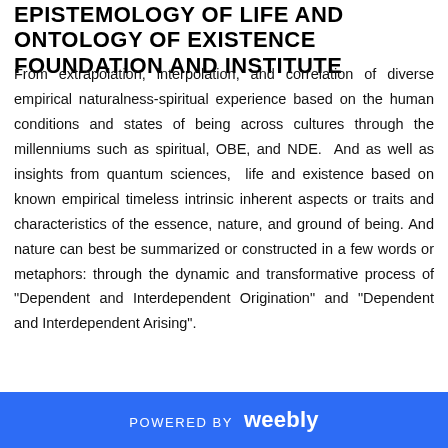EPISTEMOLOGY OF LIFE AND ONTOLOGY OF EXISTENCE FOUNDATION AND INSTITUTE
From extrapolation, interpolation, and correlation of diverse empirical naturalness-spiritual experience based on the human conditions and states of being across cultures through the millenniums such as spiritual, OBE, and NDE.  And as well as insights from quantum sciences,  life and existence based on known empirical timeless intrinsic inherent aspects or traits and characteristics of the essence, nature, and ground of being. And nature can best be summarized or constructed in a few words or metaphors: through the dynamic and transformative process of "Dependent and Interdependent Origination" and "Dependent and Interdependent Arising".
POWERED BY weebly